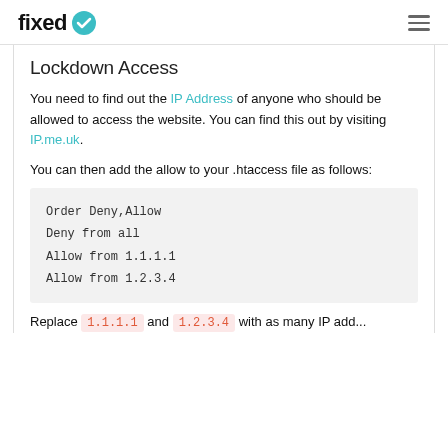fixed (logo with checkmark)
Lockdown Access
You need to find out the IP Address of anyone who should be allowed to access the website. You can find this out by visiting IP.me.uk.
You can then add the allow to your .htaccess file as follows:
Order Deny,Allow
Deny from all
Allow from 1.1.1.1
Allow from 1.2.3.4
Replace 1.1.1.1 and 1.2.3.4 with as many IP add...